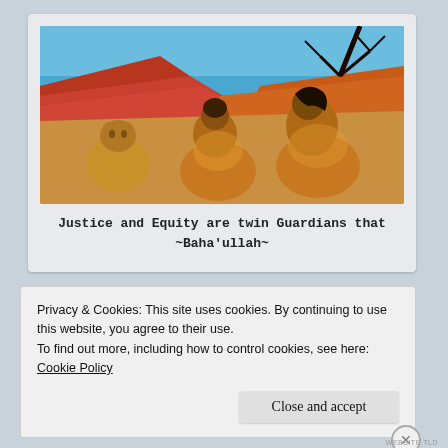[Figure (illustration): Painting of a woman and a cat sitting together against a desert landscape with red sand dunes and a blue sky, with a bare tree branch in the upper right. Warm golden and orange tones dominate the figures.]
Justice and Equity are twin Guardians that ~Baha'ullah~
Privacy & Cookies: This site uses cookies. By continuing to use this website, you agree to their use.
To find out more, including how to control cookies, see here:
Cookie Policy
Close and accept